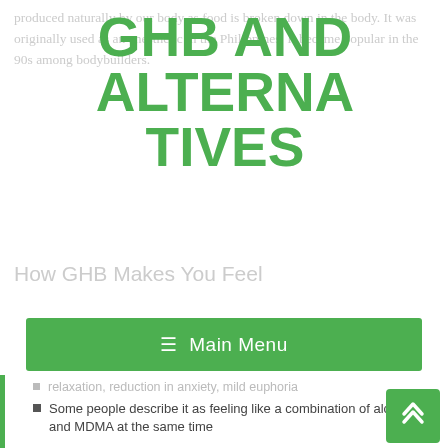produced naturally by our body as food is broken down in the body. It was originally used as an anesthetic in the Philippines. It became popular in the 90s among bodybuilders.
GHB AND ALTERNATIVES
How GHB Makes You Feel
Main Menu
relaxation, reduction in anxiety, mild euphoria
Some people describe it as feeling like a combination of alcohol and MDMA at the same time
Feeling more sociable and socially confidant or laid-back
Increased horniness
Drowsy
Feels like you are drunk on alcohol, without the bloated feeling of having consumed multiple drinks, and with the benefit of fewer-to-none of alcohols' hangover symptoms the next day